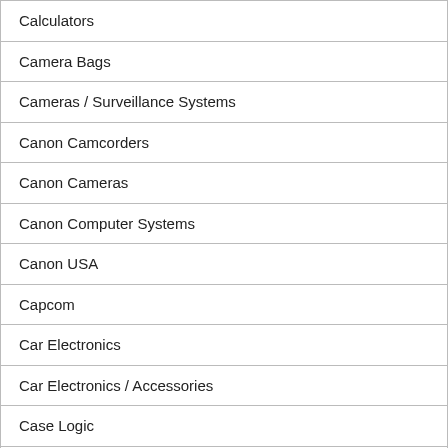Calculators
Camera Bags
Cameras / Surveillance Systems
Canon Camcorders
Canon Cameras
Canon Computer Systems
Canon USA
Capcom
Car Electronics
Car Electronics / Accessories
Case Logic
Casio
Casio Calculators